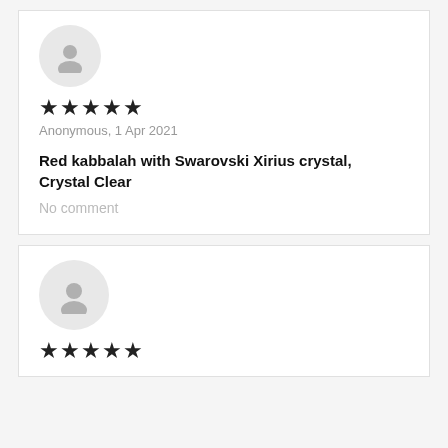[Figure (illustration): Anonymous user avatar icon in a light grey circle]
★★★★★
Anonymous, 1 Apr 2021
Red kabbalah with Swarovski Xirius crystal, Crystal Clear
No comment
[Figure (illustration): Anonymous user avatar icon in a light grey circle]
★★★★★